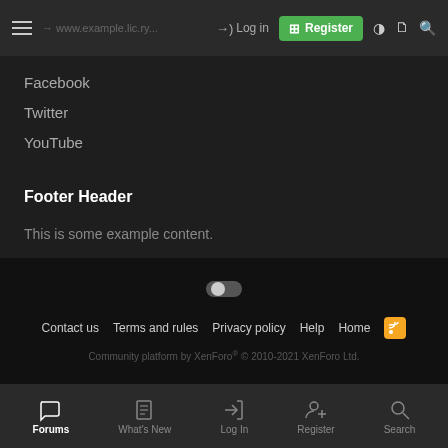Log in | Register
Facebook
Twitter
YouTube
Footer Header
This is some example content.
And this is another paragraph..
Contact us  Terms and rules  Privacy policy  Help  Home  Community platform by XenForo® © 2010-2021 XenForo Ltd.
Forums  What's New  Log In  Register  Search